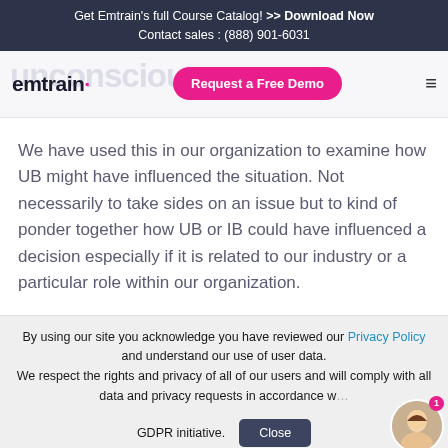Get Emtrain's full Course Catalog! >> Download Now
Contact sales : (888) 901-6031
[Figure (screenshot): Emtrain website navigation bar with logo, pink 'Request a Free Demo' button, and hamburger menu icon]
We have used this in our organization to examine how UB might have influenced the situation. Not necessarily to take sides on an issue but to kind of ponder together how UB or IB could have influenced a decision especially if it is related to our industry or a particular role within our organization.
By using our site you acknowledge you have reviewed our Privacy Policy and understand our use of user data. We respect the rights and privacy of all of our users and will comply with all data and privacy requests in accordance with GDPR initiative.